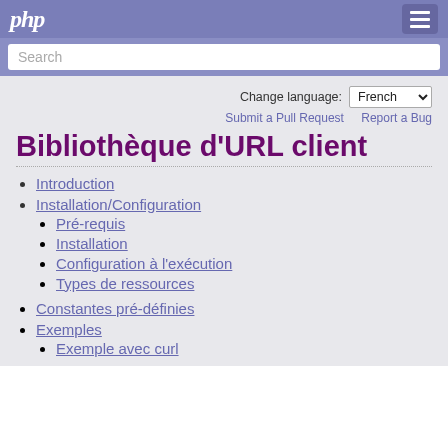php
Search
Change language: French
Submit a Pull Request   Report a Bug
Bibliothèque d'URL client
Introduction
Installation/Configuration
Pré-requis
Installation
Configuration à l'exécution
Types de ressources
Constantes pré-définies
Exemples
Exemple avec curl